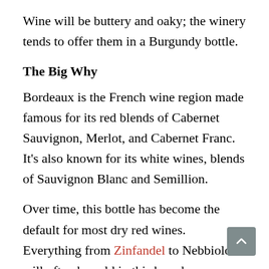Wine will be buttery and oaky; the winery tends to offer them in a Burgundy bottle.
The Big Why
Bordeaux is the French wine region made famous for its red blends of Cabernet Sauvignon, Merlot, and Cabernet Franc. It's also known for its white wines, blends of Sauvignon Blanc and Semillion.
Over time, this bottle has become the default for most dry red wines. Everything from Zinfandel to Nebbiolo will often be sold in this broad-shouldered style bottle. This is the defacto red